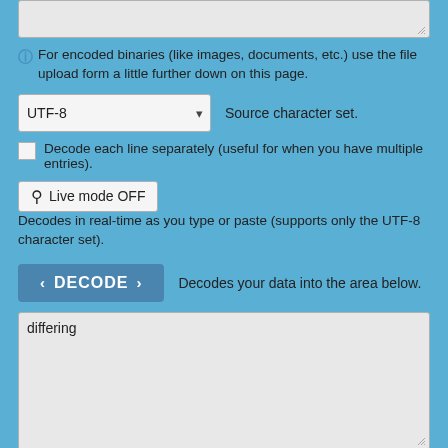[Figure (screenshot): Gray textarea input box (top, partially visible)]
For encoded binaries (like images, documents, etc.) use the file upload form a little further down on this page.
UTF-8    Source character set.
Decode each line separately (useful for when you have multiple entries).
Live mode OFF   Decodes in real-time as you type or paste (supports only the UTF-8 character set).
DECODE   Decodes your data into the area below.
[Figure (screenshot): Gray textarea output box containing the word 'differing']
Decode files from URL-encoded format